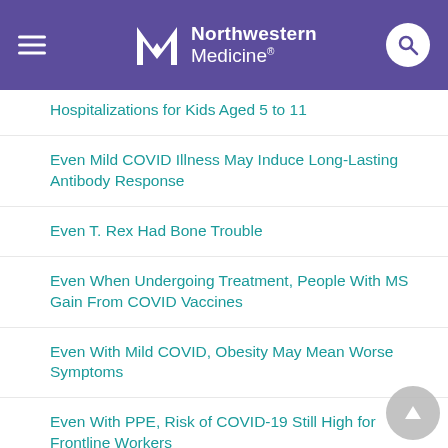Northwestern Medicine
Hospitalizations for Kids Aged 5 to 11
Even Mild COVID Illness May Induce Long-Lasting Antibody Response
Even T. Rex Had Bone Trouble
Even When Undergoing Treatment, People With MS Gain From COVID Vaccines
Even With Mild COVID, Obesity May Mean Worse Symptoms
Even With PPE, Risk of COVID-19 Still High for Frontline Workers
Eviction Bans Helped Stop COVID's Spread in Cities: Study
Evidence Mounts That TB Vaccine Might Help Protect Against COVID-19